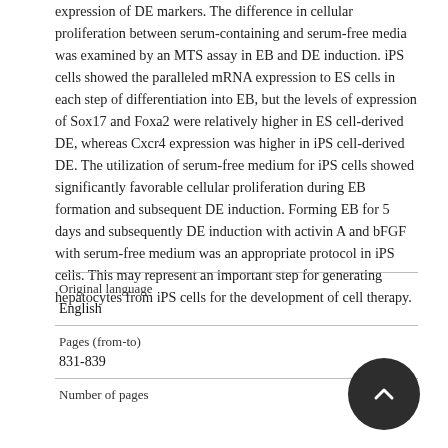expression of DE markers. The difference in cellular proliferation between serum-containing and serum-free media was examined by an MTS assay in EB and DE induction. iPS cells showed the paralleled mRNA expression to ES cells in each step of differentiation into EB, but the levels of expression of Sox17 and Foxa2 were relatively higher in ES cell-derived DE, whereas Cxcr4 expression was higher in iPS cell-derived DE. The utilization of serum-free medium for iPS cells showed significantly favorable cellular proliferation during EB formation and subsequent DE induction. Forming EB for 5 days and subsequently DE induction with activin A and bFGF with serum-free medium was an appropriate protocol in iPS cells. This may represent an important step for generating hepatocytes from iPS cells for the development of cell therapy.
| Field | Value |
| --- | --- |
| Original language | English |
| Pages (from-to) | 831-839 |
| Number of pages |  |